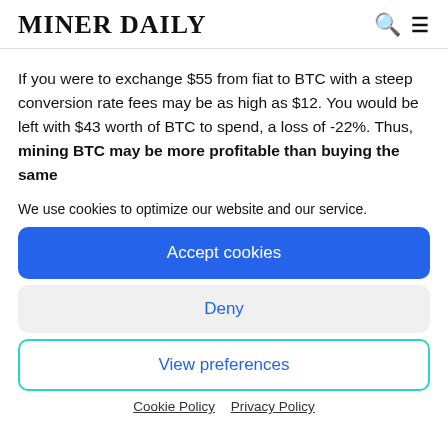MINER DAILY
If you were to exchange $55 from fiat to BTC with a steep conversion rate fees may be as high as $12. You would be left with $43 worth of BTC to spend, a loss of -22%. Thus, mining BTC may be more profitable than buying the same
We use cookies to optimize our website and our service.
Accept cookies
Deny
View preferences
Cookie Policy  Privacy Policy